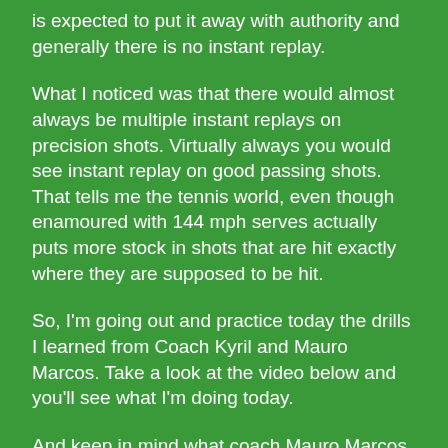is expected to put it away with authority and generally there is no instant replay.
What I noticed was that there would almost always be multiple instant replays on precision shots. Virtually always you would see instant replay on good passing shots. That tells me the tennis world, even though enamoured with 144 mph serves actually puts more stock in shots that are hit exactly where they are supposed to be hit.
So, I'm going out and practice today the drills I learned from Coach Kyril and Mauro Marcos. Take a look at the video below and you'll see what I'm doing today.
And keep in mind what coach Mauro Marcos always says, “So what if you have power if the ball goes in the woods?”